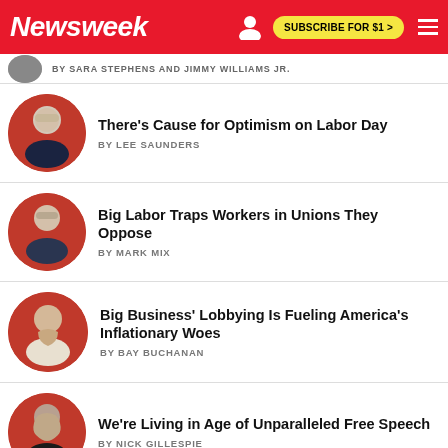Newsweek | SUBSCRIBE FOR $1 >
BY SARA STEPHENS AND JIMMY WILLIAMS JR.
There's Cause for Optimism on Labor Day — BY LEE SAUNDERS
Big Labor Traps Workers in Unions They Oppose — BY MARK MIX
Big Business' Lobbying Is Fueling America's Inflationary Woes — BY BAY BUCHANAN
We're Living in Age of Unparalleled Free Speech — BY NICK GILLESPIE
Free Speech is Becoming Dangerous Again